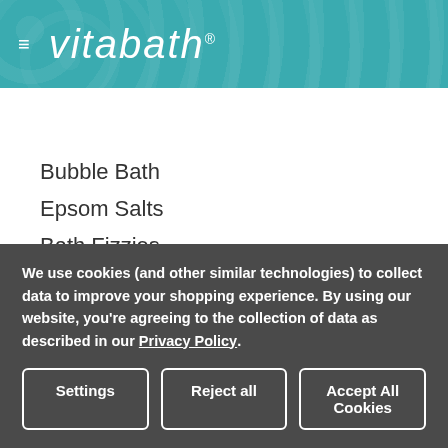[Figure (logo): Vitabath website header with teal background, hamburger menu icon, and vitabath logo in white italic script]
Bubble Bath
Epsom Salts
Bath Fizzies
Mineral Soaks
Foaming Bath Salts
Foaming Bath Bombs
We use cookies (and other similar technologies) to collect data to improve your shopping experience. By using our website, you're agreeing to the collection of data as described in our Privacy Policy.
Settings | Reject all | Accept All Cookies